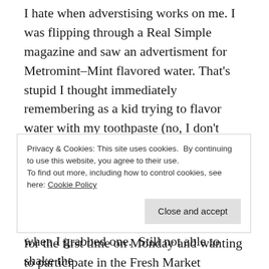I hate when adverstising works on me. I was flipping through a Real Simple magazine and saw an advertisment for Metromint–Mint flavored water. That's stupid I thought immediately remembering as a kid trying to flavor water with my toothpaste (no, I don't remember why) not liking the way it tasted and wondering what made me think that was a such a bright idea in the first place.  Isn't this just about the same thing?  But then I go to The Fresh Market for the first time on Monday and wanting to participate in the Fresh Market experience but not willing to pay $9.99 for a lb of chicken curry salad I opt instead for a
Privacy & Cookies: This site uses cookies. By continuing to use this website, you agree to their use. To find out more, including how to control cookies, see here: Cookie Policy
Close and accept
when I grabbed one.  Still not able to shake the